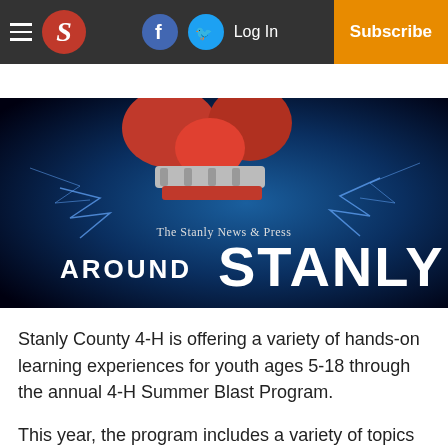The Stanly News & Press — Log In | Subscribe
[Figure (illustration): Around Stanly banner with 3D red and silver clover/letter shape on dark blue background with lightning effects, text reading 'The Stanly News & Press AROUND STANLY']
Stanly County 4-H is offering a variety of hands-on learning experiences for youth ages 5-18 through the annual 4-H Summer Blast Program.
This year, the program includes a variety of topics